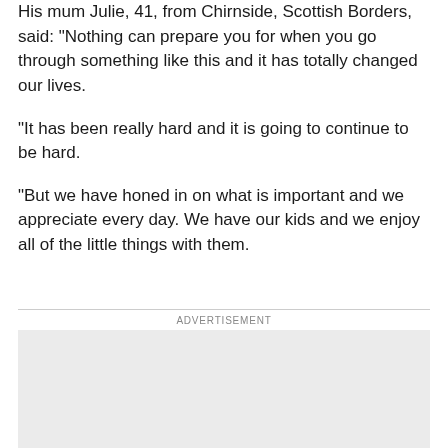His mum Julie, 41, from Chirnside, Scottish Borders, said: “Nothing can prepare you for when you go through something like this and it has totally changed our lives.
“It has been really hard and it is going to continue to be hard.
“But we have honed in on what is important and we appreciate every day. We have our kids and we enjoy all of the little things with them.
ADVERTISEMENT
[Figure (other): Advertisement placeholder box with light grey background]